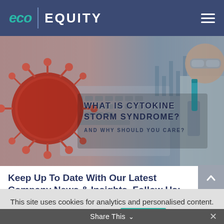eco EQUITY
[Figure (photo): Hero banner showing a coronavirus particle on the left, a scientist holding a blue liquid vial on the right, with keyboard keys and data graphics in the background. Text overlay reads: WHAT IS CYTOKINE STORM SYNDROME? AND WHY SHOULD YOU CARE?]
Keep Up To Date With Our Latest Company News & Insights, Follow Us:
This site uses cookies for analytics and personalised content. By continuing to browse this site, you agree to this use.
Read More   ACCEPT
Share This